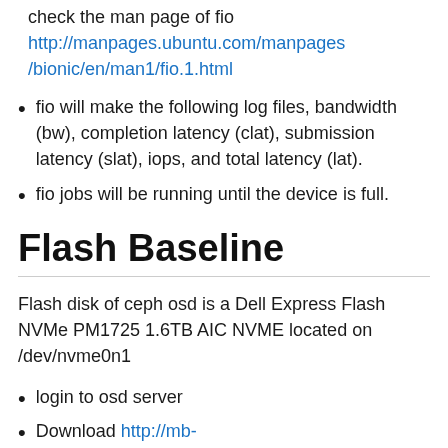check the man page of fio http://manpages.ubuntu.com/manpages/bionic/en/man1/fio.1.html
fio will make the following log files, bandwidth (bw), completion latency (clat), submission latency (slat), iops, and total latency (lat).
fio jobs will be running until the device is full.
Flash Baseline
Flash disk of ceph osd is a Dell Express Flash NVMe PM1725 1.6TB AIC NVME located on /dev/nvme0n1
login to osd server
Download http://mb-bau.grv.gov.dk:3001/mb/rdo-newton.ppa